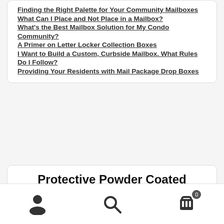Finding the Right Palette for Your Community Mailboxes
What Can I Place and Not Place in a Mailbox?
What's the Best Mailbox Solution for My Condo Community?
A Primer on Letter Locker Collection Boxes
I Want to Build a Custom, Curbside Mailbox. What Rules Do I Follow?
Providing Your Residents with Mail Package Drop Boxes
[Figure (infographic): Promotional banner showing 'Protective Powder Coated Color Finishes Available (Wall Mount Style)' with four color swatch mailbox images: dark brown, navy/black, dark brown-red, and tan/gold.]
Navigation bar with user icon, search icon, and cart icon with badge 0